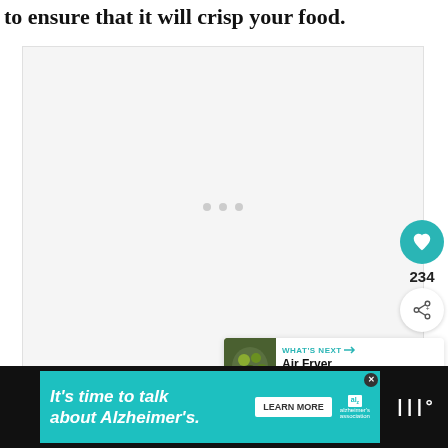to ensure that it will crisp your food.
[Figure (photo): Light gray image placeholder area with three gray dots (carousel indicators) in the center. A teal heart/like button showing 234 likes and a share button are overlaid on the right side. A 'What's Next' panel shows Air Fryer Steak Kebabs.]
[Figure (infographic): Advertisement banner: 'It's time to talk about Alzheimer's.' with a Learn More button and Alzheimer's Association logo on a teal background.]